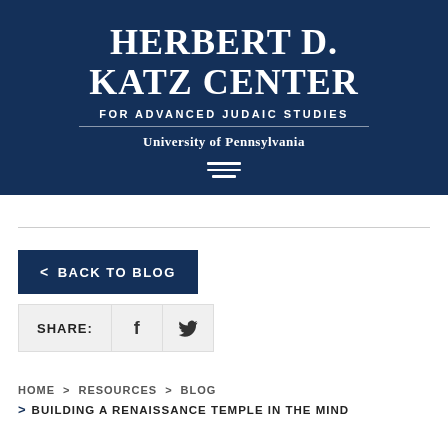[Figure (logo): Herbert D. Katz Center for Advanced Judaic Studies, University of Pennsylvania logo on dark navy background with hamburger menu icon]
< BACK TO BLOG
SHARE: [Facebook icon] [Twitter icon]
HOME > RESOURCES > BLOG
> BUILDING A RENAISSANCE TEMPLE IN THE MIND